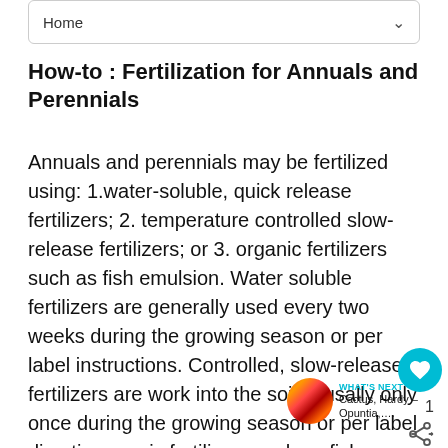on: Home
How-to : Fertilization for Annuals and Perennials
Annuals and perennials may be fertilized using: 1.water-soluble, quick release fertilizers; 2. temperature controlled slow-release fertilizers; or 3. organic fertilizers such as fish emulsion. Water soluble fertilizers are generally used every two weeks during the growing season or per label instructions. Controlled, slow-release fertilizers are work into the soil ususally only once during the growing season or per label directio organic fertilizers such as fish emulsion, follow label directions as they may vary per product